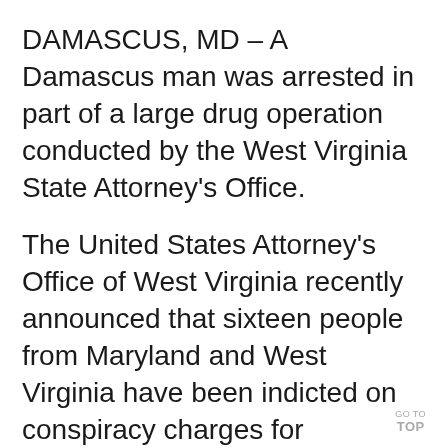DAMASCUS, MD – A Damascus man was arrested in part of a large drug operation conducted by the West Virginia State Attorney's Office.
The United States Attorney's Office of West Virginia recently announced that sixteen people from Maryland and West Virginia have been indicted on conspiracy charges for distribution of controlled dangerous substances and conspiracy to distribute controlled substances in Maryland and West Virginia.